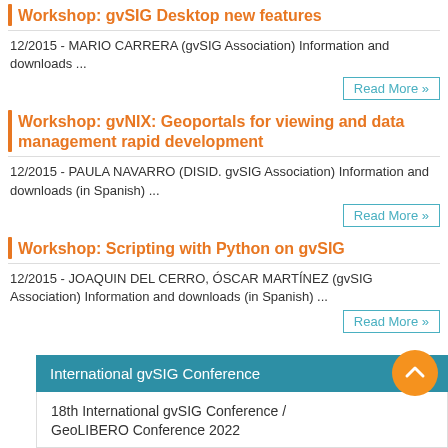Workshop: gvSIG Desktop new features
12/2015 - MARIO CARRERA (gvSIG Association) Information and downloads ...
Read More »
Workshop: gvNIX: Geoportals for viewing and data management rapid development
12/2015 - PAULA NAVARRO (DISID. gvSIG Association) Information and downloads (in Spanish) ...
Read More »
Workshop: Scripting with Python on gvSIG
12/2015 - JOAQUIN DEL CERRO, ÓSCAR MARTÍNEZ (gvSIG Association) Information and downloads (in Spanish) ...
Read More »
International gvSIG Conference
18th International gvSIG Conference / GeoLIBERO Conference 2022